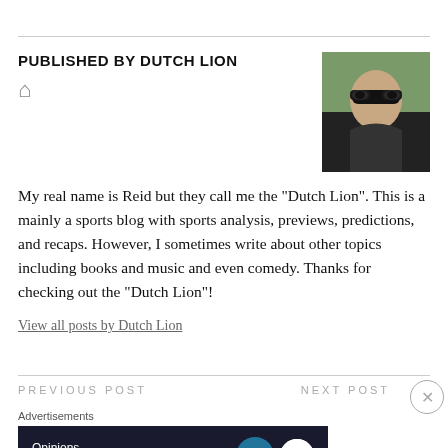PUBLISHED BY DUTCH LION
[Figure (photo): Author photo: person wearing sunglasses outdoors with green trees in background]
My real name is Reid but they call me the "Dutch Lion". This is a mainly a sports blog with sports analysis, previews, predictions, and recaps. However, I sometimes write about other topics including books and music and even comedy. Thanks for checking out the "Dutch Lion"!
View all posts by Dutch Lion
PREVIOUS POST
NEXT POST
Advertisements
[Figure (other): WordPress advertisement banner: 'Opinions. We all have them!' with WordPress and Blog logos on dark navy background]